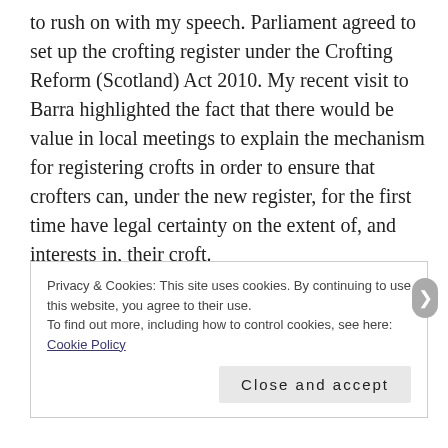to rush on with my speech. Parliament agreed to set up the crofting register under the Crofting Reform (Scotland) Act 2010. My recent visit to Barra highlighted the fact that there would be value in local meetings to explain the mechanism for registering crofts in order to ensure that crofters can, under the new register, for the first time have legal certainty on the extent of, and interests in, their croft.
I have asked my officials to ensure that local meetings be arranged to assist crofters in understanding the process
Privacy & Cookies: This site uses cookies. By continuing to use this website, you agree to their use.
To find out more, including how to control cookies, see here: Cookie Policy